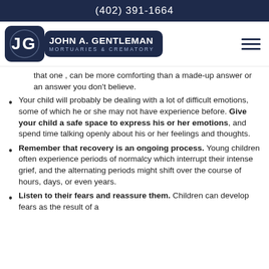(402) 391-1664
[Figure (logo): John A. Gentleman Mortuaries & Crematory logo with shield emblem on dark navy background]
that one , can be more comforting than a made-up answer or an answer you don't believe.
Your child will probably be dealing with a lot of difficult emotions, some of which he or she may not have experience before. Give your child a safe space to express his or her emotions, and spend time talking openly about his or her feelings and thoughts.
Remember that recovery is an ongoing process. Young children often experience periods of normalcy which interrupt their intense grief, and the alternating periods might shift over the course of hours, days, or even years.
Listen to their fears and reassure them. Children can develop fears as the result of a